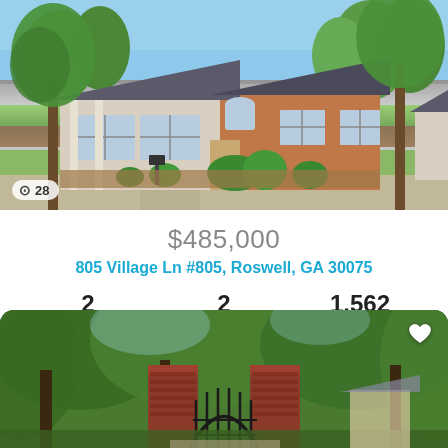[Figure (photo): Exterior photo of a brick ranch-style home with gray roof, large windows, lush trees and landscaping, suburban setting]
📷 28
$485,000
805 Village Ln #805, Roswell, GA 30075
| Beds | Baths | SqFt |
| --- | --- | --- |
| 2 | 2 | 1,562 |
[Figure (logo): FMLS IDX logo in green and teal]
[Figure (photo): Gated community entrance with brick pillars, ornamental iron gate, and wooded surroundings]